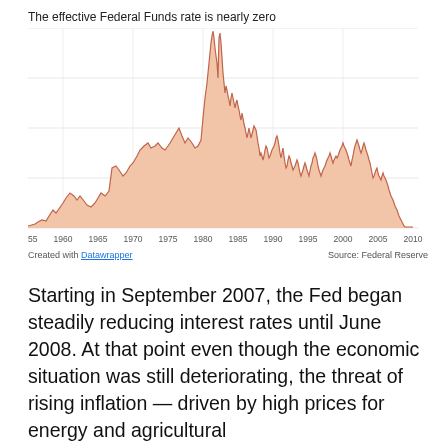[Figure (continuous-plot): Area line chart showing the effective Federal Funds rate from 1955 to 2010. The rate starts near 0, rises gradually through the 1960s, peaks dramatically around 1980 at nearly 20%, then declines with fluctuations through the 1990s and 2000s, reaching near zero by 2010.]
Starting in September 2007, the Fed began steadily reducing interest rates until June 2008. At that point even though the economic situation was still deteriorating, the threat of rising inflation — driven by high prices for energy and agricultural